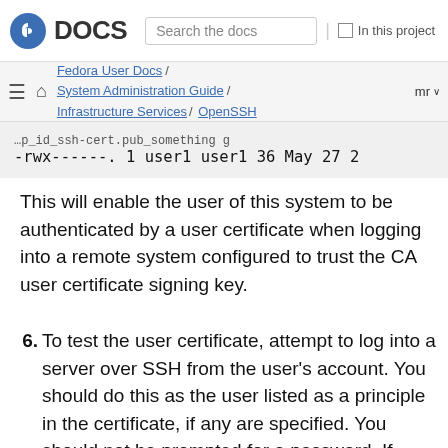DOCS | Search the docs | In this project
Fedora User Docs / System Administration Guide / Infrastructure Services / OpenSSH | mr
-rwx------. 1 user1 user1 36 May 27 2
This will enable the user of this system to be authenticated by a user certificate when logging into a remote system configured to trust the CA user certificate signing key.
6. To test the user certificate, attempt to log into a server over SSH from the user’s account. You should do this as the user listed as a principle in the certificate, if any are specified. You should not be prompted for a password. If required, add the -v option to the SSH command to see